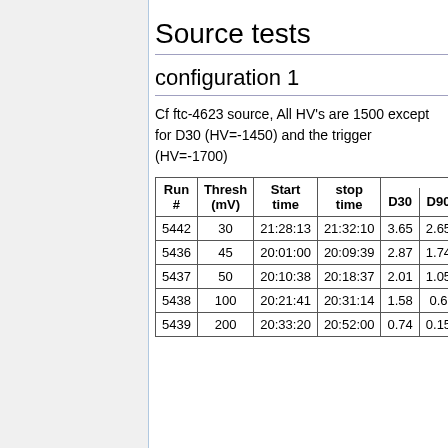Source tests
configuration 1
Cf ftc-4623 source, All HV's are 1500 except for D30 (HV=-1450) and the trigger (HV=-1700)
| Run # | Thresh (mV) | Start time | stop time | D30 | D90 |
| --- | --- | --- | --- | --- | --- |
| 5442 | 30 | 21:28:13 | 21:32:10 | 3.65 | 2.65 |
| 5436 | 45 | 20:01:00 | 20:09:39 | 2.87 | 1.74 |
| 5437 | 50 | 20:10:38 | 20:18:37 | 2.01 | 1.05 |
| 5438 | 100 | 20:21:41 | 20:31:14 | 1.58 | 0.6 |
| 5439 | 200 | 20:33:20 | 20:52:00 | 0.74 | 0.15 |